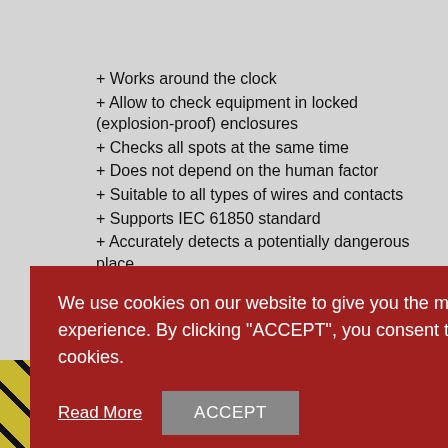+ Works around the clock
+ Allow to check equipment in locked (explosion-proof) enclosures
+ Checks all spots at the same time
+ Does not depend on the human factor
+ Suitable to all types of wires and contacts
+ Supports IEC 61850 standard
+ Accurately detects a potentially dangerous place
– couldn't be used on open area
We use cookies on our website to give you the most relevant experience. By clicking "ACCEPT", you consent to the use of the cookies.
Read More
ACCEPT
[Figure (photo): Cookie consent overlay on a product page showing fire prevention concentrator device. Bottom shows partial images including a temperature display showing 80°C and a device labeled FIRE PREVENTER ALARM.]